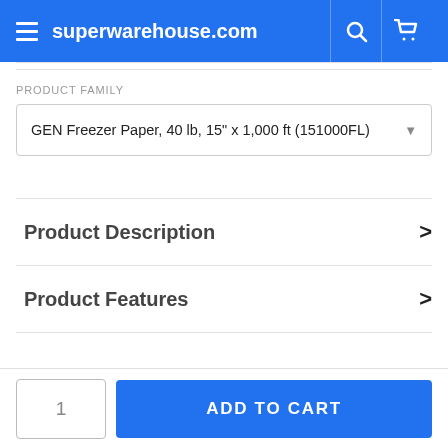superwarehouse.com
PRODUCT FAMILY
GEN Freezer Paper, 40 lb, 15" x 1,000 ft (151000FL)
Product Description
Product Features
1
ADD TO CART